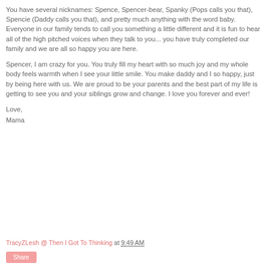You have several nicknames: Spence, Spencer-bear, Spanky (Pops calls you that), Spencie (Daddy calls you that), and pretty much anything with the word baby. Everyone in our family tends to call you something a little different and it is fun to hear all of the high pitched voices when they talk to you... you have truly completed our family and we are all so happy you are here.
Spencer, I am crazy for you. You truly fill my heart with so much joy and my whole body feels warmth when I see your little smile. You make daddy and I so happy, just by being here with us. We are proud to be your parents and the best part of my life is getting to see you and your siblings grow and change. I love you forever and ever!
Love,
Mama
TracyZLesh @ Then I Got To Thinking at 9:49 AM